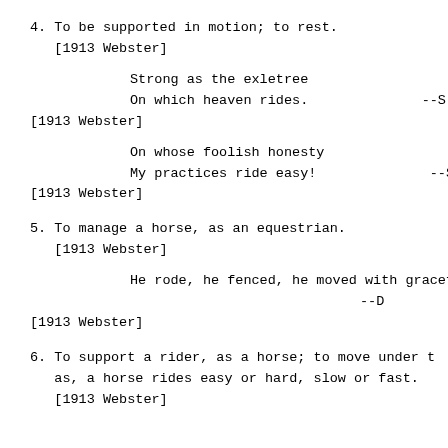4. To be supported in motion; to rest.
   [1913 Webster]
Strong as the exletree
On which heaven rides.                        --S
[1913 Webster]
On whose foolish honesty
My practices ride easy!                      --S
[1913 Webster]
5. To manage a horse, as an equestrian.
   [1913 Webster]
He rode, he fenced, he moved with gracefu
--D
[1913 Webster]
6. To support a rider, as a horse; to move under t
as, a horse rides easy or hard, slow or fast.
   [1913 Webster]